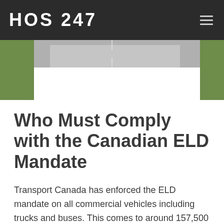HOS 247
[Figure (photo): Road/highway photo with green grass on sides and grey asphalt road in center, with a white card overlay]
Who Must Comply with the Canadian ELD Mandate
Transport Canada has enforced the ELD mandate on all commercial vehicles including trucks and buses. This comes to around 157,500 commercial vehicle drivers operating in Canada.